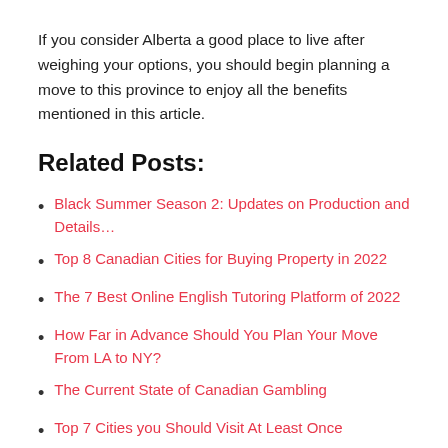If you consider Alberta a good place to live after weighing your options, you should begin planning a move to this province to enjoy all the benefits mentioned in this article.
Related Posts:
Black Summer Season 2: Updates on Production and Details…
Top 8 Canadian Cities for Buying Property in 2022
The 7 Best Online English Tutoring Platform of 2022
How Far in Advance Should You Plan Your Move From LA to NY?
The Current State of Canadian Gambling
Top 7 Cities you Should Visit At Least Once